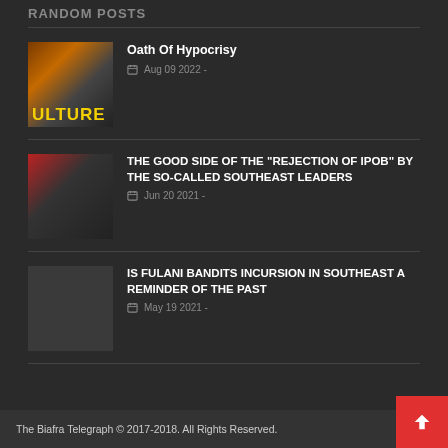Random Posts
Oath Of Hypocrisy — Aug 09 2022
THE GOOD SIDE OF THE "REJECTION OF IPOB" BY THE SO-CALLED SOUTHEAST LEADERS — Jun 20 2021
IS FULANI BANDITS INCURSION IN SOUTHEAST A REMINDER OF THE PAST — May 19 2021
The Biafra Telegraph © 2017-2018. All Rights Reserved.